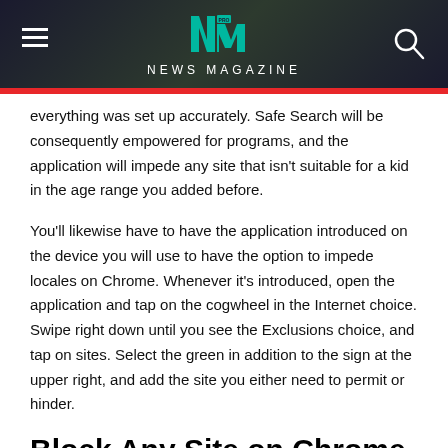NEWS MAGAZINE
everything was set up accurately. Safe Search will be consequently empowered for programs, and the application will impede any site that isn't suitable for a kid in the age range you added before.
You'll likewise have to have the application introduced on the device you will use to have the option to impede locales on Chrome. Whenever it's introduced, open the application and tap on the cogwheel in the Internet choice. Swipe right down until you see the Exclusions choice, and tap on sites. Select the green in addition to the sign at the upper right, and add the site you either need to permit or hinder.
Block Any Site on Chrome and Firefox